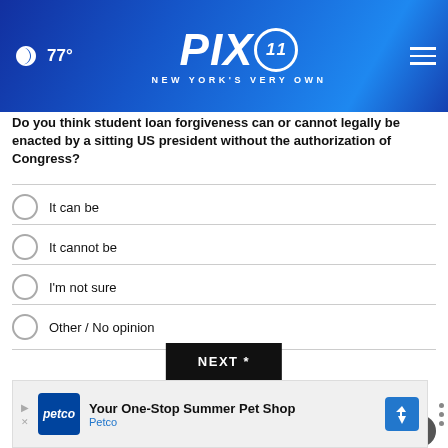PIX11 NEW YORK'S VERY OWN — 77°
Do you think student loan forgiveness can or cannot legally be enacted by a sitting US president without the authorization of Congress?
It can be
It cannot be
I'm not sure
Other / No opinion
NEXT *
* By clicking "NEXT" you agree to the following: We use cookies to track your survey answers. If you would like to continue with this survey, please read and agree to the CivicScience Privacy Policy and Terms of Service
[Figure (advertisement): Petco ad: Your One-Stop Summer Pet Shop]